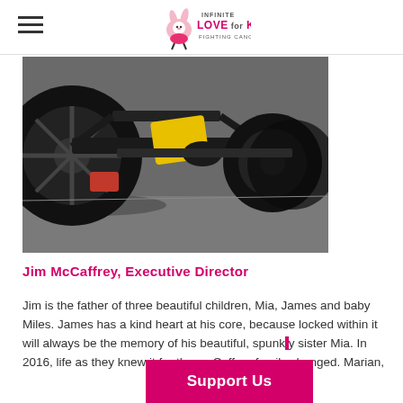Infinite Love for Kids Fighting Cancer
[Figure (photo): Close-up photo of a go-kart or children's ride-on vehicle showing black wheels, yellow plastic, red pedal, on asphalt with grass visible in background]
Jim McCaffrey, Executive Director
Jim is the father of three beautiful children, Mia, James and baby Miles. James has a kind heart at his core, because locked within it will always be the memory of his beautiful, spunky sister Mia. In 2016, life as they knew it for the McCaffrey family changed. Marian,